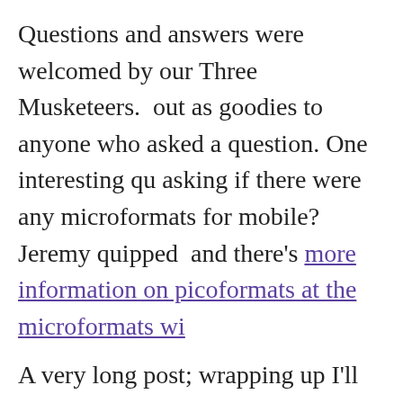Questions and answers were welcomed by our Three Musketeers. [goodies handed] out as goodies to anyone who asked a question. One interesting qu[estion was] asking if there were any microformats for mobile? Jeremy quipped [that] and there's more information on picoformats at the microformats wi[ki]
A very long post; wrapping up I'll say we all enjoyed a beer with the [speakers] afterwards! Thanks to Stuart for organising the meet. He's already p[lanned the next] event. I'm looking forward to the next one, whenever that comes rou[nd].
This entry was posted in microformats, social, web standards group and tagged [D...] norman francis, microformats, picoformats, wsg london. Bookmark the permalink.
[Figure (illustration): Purple/violet decorative banner divider strip]
← Gone Into Hiding?